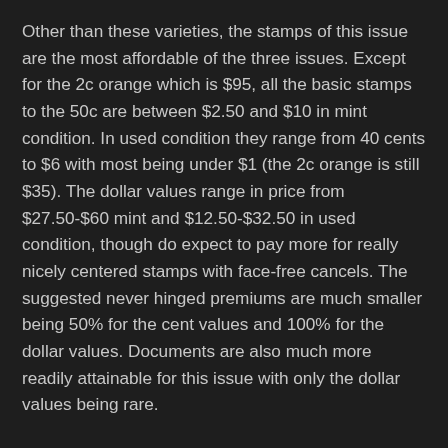Other than these varieties, the stamps of this issue are the most affordable of the three issues. Except for the 2c orange which is $95, all the basic stamps to the 50c are between $2.50 and $10 in mint condition. In used condition they range from 40 cents to $6 with most being under $1 (the 2c orange is still $35). The dollar values range in price from $27.50-$60 mint and $12.50-$32.50 in used condition, though do expect to pay more for really nicely centered stamps with face-free cancels. The suggested never hinged premiums are much smaller being 50% for the cent values and 100% for the dollar values. Documents are also much more readily attainable for this issue with only the dollar values being rare.
So the bill stamps are nice sets to collect even for collectors of modest means. If you are wealthy, each of the issues offers rarities to challenge you and you could easily spend a lifetime collecting only these stamps and related documents.